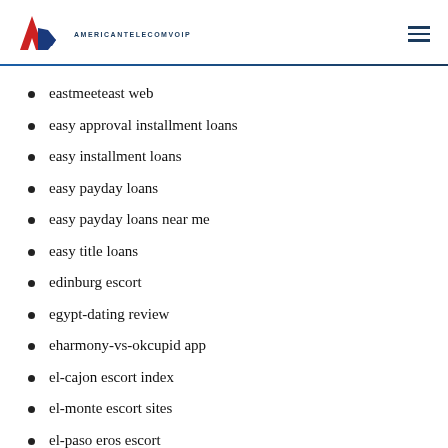AMERICANTELECOMVOIP
eastmeeteast web
easy approval installment loans
easy installment loans
easy payday loans
easy payday loans near me
easy title loans
edinburg escort
egypt-dating review
eharmony-vs-okcupid app
el-cajon escort index
el-monte escort sites
el-paso eros escort